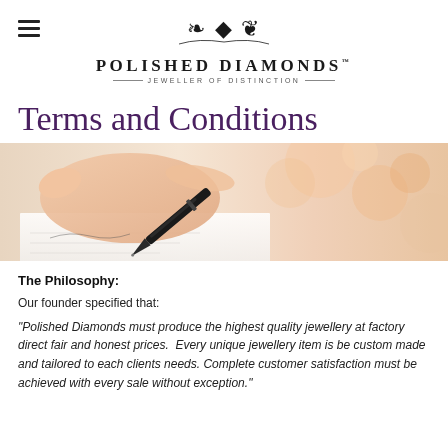POLISHED DIAMONDS — JEWELLER OF DISTINCTION
Terms and Conditions
[Figure (photo): Close-up photograph of a hand holding a pen, signing or writing on a document, with warm bokeh background.]
The Philosophy:
Our founder specified that:
"Polished Diamonds must produce the highest quality jewellery at factory direct fair and honest prices.  Every unique jewellery item is be custom made and tailored to each clients needs. Complete customer satisfaction must be achieved with every sale without exception."